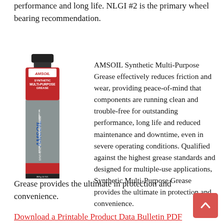performance and long life. NLGI #2 is the primary wheel bearing recommendation.
[Figure (photo): AMSOIL Synthetic Multi-Purpose Grease product tube (14 oz cartridge) with red and grey label]
AMSOIL Synthetic Multi-Purpose Grease effectively reduces friction and wear, providing peace-of-mind that components are running clean and trouble-free for outstanding performance, long life and reduced maintenance and downtime, even in severe operating conditions. Qualified against the highest grease standards and designed for multiple-use applications, Synthetic Multi-Purpose Grease provides the ultimate in protection and convenience.
Download a Printable Product Data Bulletin PDF